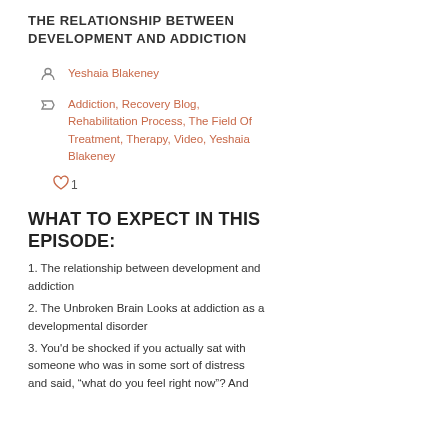THE RELATIONSHIP BETWEEN DEVELOPMENT AND ADDICTION
Yeshaia Blakeney
Addiction, Recovery Blog, Rehabilitation Process, The Field Of Treatment, Therapy, Video, Yeshaia Blakeney
1
WHAT TO EXPECT IN THIS EPISODE:
1. The relationship between development and addiction
2. The Unbroken Brain Looks at addiction as a developmental disorder
3. You'd be shocked if you actually sat with someone who was in some sort of distress and said, “what do you feel right now”? And